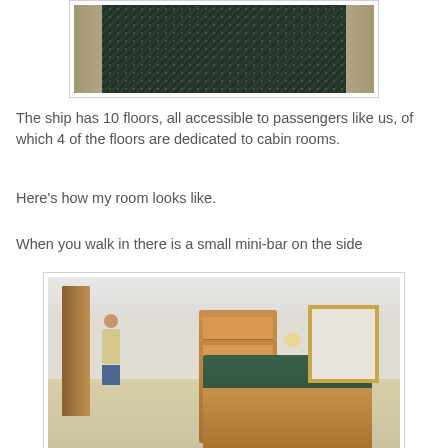[Figure (photo): Photo of a ship corridor/hallway with dark patterned carpet and beige walls]
The ship has 10 floors, all accessible to passengers like us, of which 4 of the floors are dedicated to cabin rooms.
Here's how my room looks like.
When you walk in there is a small mini-bar on the side
[Figure (photo): Photo of cruise ship cabin room showing a mini-bar unit with shelves, a counter with items on it, a person reflected in a mirror, and room furnishings]